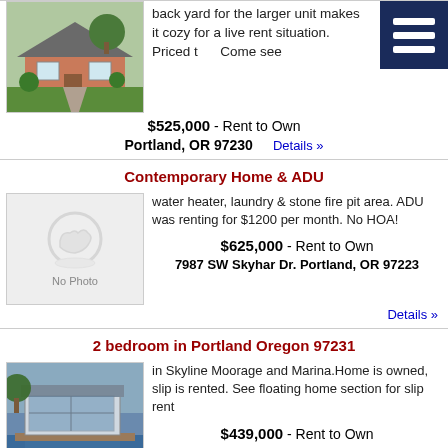[Figure (photo): Exterior photo of a ranch-style house with green lawn and trees]
back yard for the larger unit makes it cozy for a live rent situation. Priced to... Come see
$525,000 - Rent to Own
Portland, OR 97230
Details »
Contemporary Home & ADU
[Figure (photo): No Photo placeholder image]
water heater, laundry & stone fire pit area. ADU was renting for $1200 per month. No HOA!
$625,000 - Rent to Own
7987 SW Skyhar Dr. Portland, OR 97223
Details »
2 bedroom in Portland Oregon 97231
[Figure (photo): Photo of a floating home / houseboat at a marina]
in Skyline Moorage and Marina.Home is owned, slip is rented. See floating home section for slip rent
$439,000 - Rent to Own